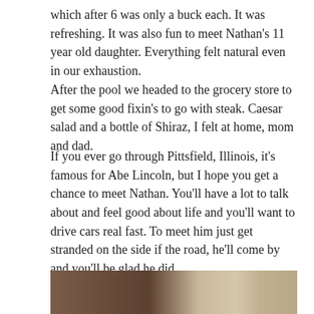which after 6 was only a buck each. It was refreshing. It was also fun to meet Nathan's 11 year old daughter. Everything felt natural even in our exhaustion.
After the pool we headed to the grocery store to get some good fixin's to go with steak. Caesar salad and a bottle of Shiraz, I felt at home, mom and dad.
If you ever go through Pittsfield, Illinois, it's famous for Abe Lincoln, but I hope you get a chance to meet Nathan. You'll have a lot to talk about and feel good about life and you'll want to drive cars real fast. To meet him just get stranded on the side if the road, he'll come by and you'll be glad he did.
Thanks Nathan.
[Figure (photo): A photo showing wooden surfaces with brown and tan tones, partially visible at the bottom of the page.]